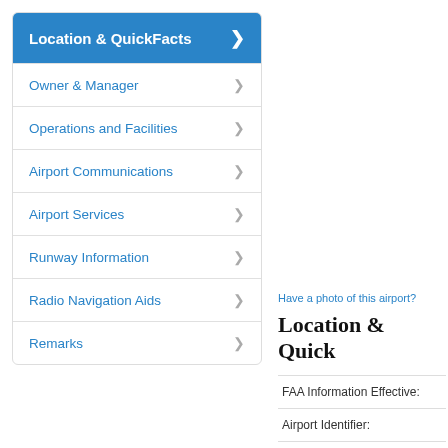Location & QuickFacts
Owner & Manager
Operations and Facilities
Airport Communications
Airport Services
Runway Information
Radio Navigation Aids
Remarks
Have a photo of this airport?
Location & Quick
| Field | Value |
| --- | --- |
| FAA Information Effective: |  |
| Airport Identifier: |  |
| Airport Status: |  |